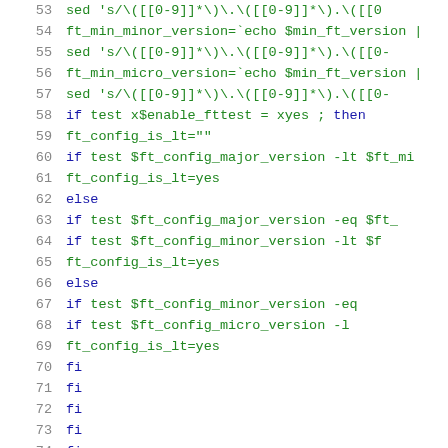[Figure (screenshot): Source code listing showing shell script lines 53-74, syntax highlighted with line numbers. Keywords and variable names in blue and green monospace font.]